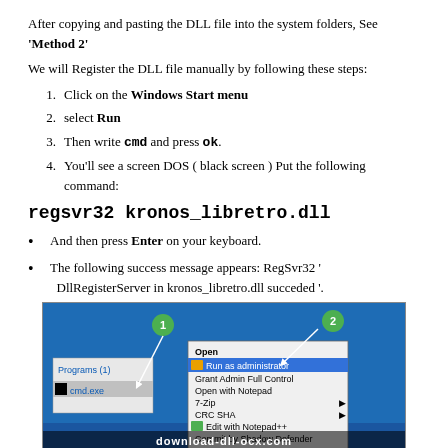After copying and pasting the DLL file into the system folders, See 'Method 2'
We will Register the DLL file manually by following these steps:
1. Click on the Windows Start menu
2. select Run
3. Then write cmd and press ok.
4. You'll see a screen DOS ( black screen ) Put the following command:
regsvr32 kronos_libretro.dll
And then press Enter on your keyboard.
The following success message appears: RegSvr32 'DllRegisterServer in kronos_libretro.dll succeded '.
[Figure (screenshot): Screenshot of Windows context menu showing options: Open, Run as administrator (highlighted), Grant Admin Full Control, Open with Notepad, 7-Zip, CRC SHA, Edit with Notepad++, Commit by Shadow Defender. Two green numbered circles (1 and 2) with arrows pointing to cmd.exe and Run as administrator. Bottom has download-dll-ocx.com watermark.]